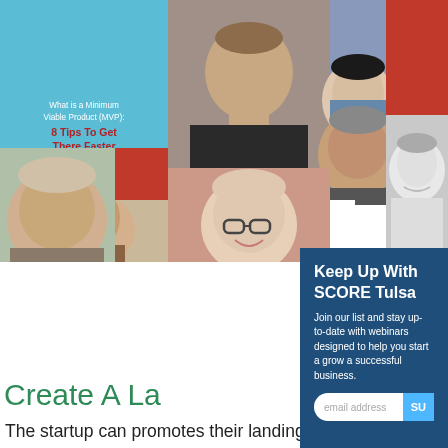[Figure (photo): Collage of professional headshots, red/blue tile squares, a chart icon on laptop graphic, and a 'What is a Minimum Viable Product (MVP): 8 Tips To Get There Faster' blue tile. Multiple people's faces arranged in grid tiles with red accent squares.]
Keep Up With SCORE Tulsa
Join our list and stay up-to-date with webinars designed to help you start a grow a successful business.
email address
SU
Create A La
The startup can promotes their landing page has a form to capture customer email and phone numbers, you can learn from user interactions and decide which features need to be dropped, improved, or added. This user feedback